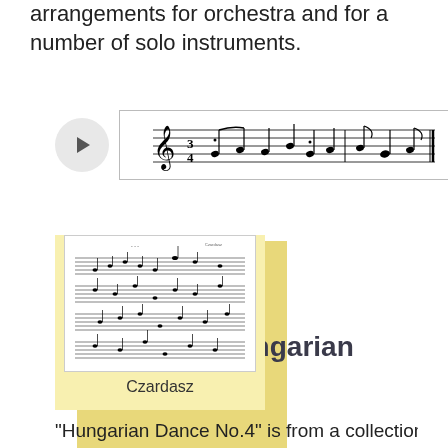arrangements for orchestra and for a number of solo instruments.
[Figure (illustration): Audio player with play button and a bar of sheet music notation in 3/4 time]
[Figure (illustration): Sheet music score card labeled 'Czardasz' on a yellow background with a shadow card behind it]
Czardasz
3.  Brahms  -  Hungarian Dance No.4
"Hungarian Dance No.4" is from a collection of 21...